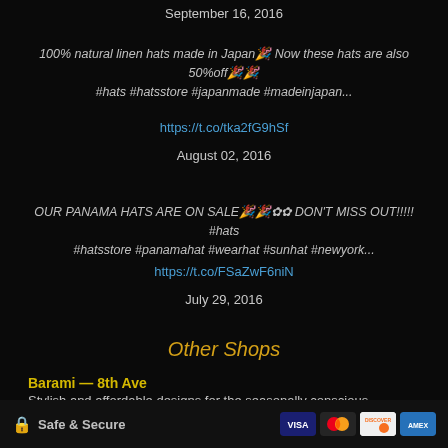September 16, 2016
100% natural linen hats made in Japan🎉 Now these hats are also 50%off🎉🎉 #hats #hatsstore #japanmade #madeinjapan...
https://t.co/tka2fG9hSf
August 02, 2016
OUR PANAMA HATS ARE ON SALE🎉🎉✿✿ DON'T MISS OUT!!!!! #hats #hatsstore #panamahat #wearhat #sunhat #newyork...
https://t.co/FSaZwF6niN
July 29, 2016
Other Shops
Barami — 8th Ave
Stylish and affordable designs for the seasonally conscious New York woman. Desi...
Safe & Secure